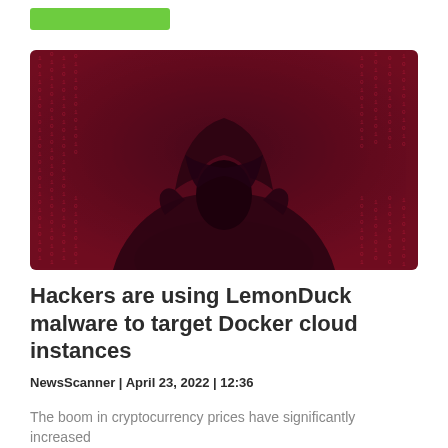[Figure (illustration): Green rectangular button/bar in top left corner]
[Figure (photo): Dark hooded figure silhouetted against a red-tinted background filled with vertical streams of code/text, evoking a hacker aesthetic]
Hackers are using LemonDuck malware to target Docker cloud instances
NewsScanner | April 23, 2022 | 12:36
The boom in cryptocurrency prices have significantly increased